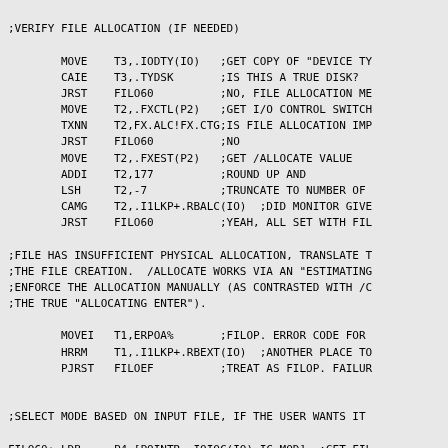;VERIFY FILE ALLOCATION (IF NEEDED)
MOVE    T3,.IODTY(IO)   ;GET COPY OF "DEVICE TY
        CAIE    T3,.TYDSK       ;IS THIS A TRUE DISK?
        JRST    FILO60          ;NO, FILE ALLOCATION ME
        MOVE    T2,.FXCTL(P2)   ;GET I/O CONTROL SWITCH
        TXNN    T2,FX.ALC!FX.CTG;IS FILE ALLOCATION IMP
        JRST    FILO60          ;NO
        MOVE    T2,.FXEST(P2)   ;GET /ALLOCATE VALUE
        ADDI    T2,177          ;ROUND UP AND
        LSH     T2,-7           ;TRUNCATE TO NUMBER OF
        CAMG    T2,.I1LKP+.RBALC(IO)  ;DID MONITOR GIVE
        JRST    FILO60          ;YEAH, ALL SET WITH FIL
;FILE HAS INSUFFICIENT PHYSICAL ALLOCATION, TRANSLATE T
;THE FILE CREATION.  /ALLOCATE WORKS VIA AN "ESTIMATING
;ENFORCE THE ALLOCATION MANUALLY (AS CONTRASTED WITH /C
;THE TRUE "ALLOCATING ENTER").
MOVEI   T1,ERPOA%       ;FILOP. ERROR CODE FOR
        HRRM    T1,.I1LKP+.RBEXT(IO)  ;ANOTHER PLACE TO
        PJRST   FILOEF          ;TREAT AS FILOP. FAILUR
;SELECT MODE BASED ON INPUT FILE, IF THE USER WANTS IT
FILO60: LDB     P4,[POINTR .IOIOC(IO),IC.MOD]  ;GET FIL
        MOVE    T1,.IOIOM(IO)   ;GET MODE CONTROL FLAGS
        TXNN    T1,IM.CMD       ;OVERRIDING IOC MODE?